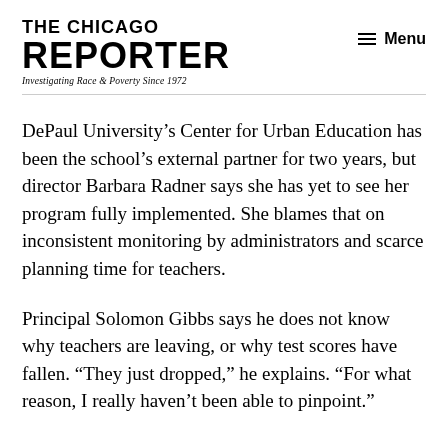THE CHICAGO REPORTER
Investigating Race & Poverty Since 1972
DePaul University’s Center for Urban Education has been the school’s external partner for two years, but director Barbara Radner says she has yet to see her program fully implemented. She blames that on inconsistent monitoring by administrators and scarce planning time for teachers.
Principal Solomon Gibbs says he does not know why teachers are leaving, or why test scores have fallen. “They just dropped,” he explains. “For what reason, I really haven’t been able to pinpoint.”